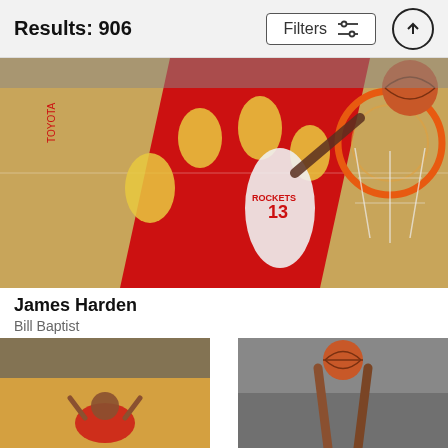Results: 906
Filters
[Figure (photo): NBA basketball game photo: James Harden (#13, Houston Rockets in white jersey) reaching toward the basket from below, with Denver Nuggets players in yellow jerseys visible in background. Close-up of orange basketball hoop and net in upper right. Photo taken from below the rim looking up.]
James Harden
Bill Baptist
$9.62
[Figure (photo): NBA basketball game photo showing a player kneeling on the court with crowd and spectators visible in background.]
[Figure (photo): NBA basketball game photo showing hands reaching up toward a basketball near the basket, crowd visible in background.]